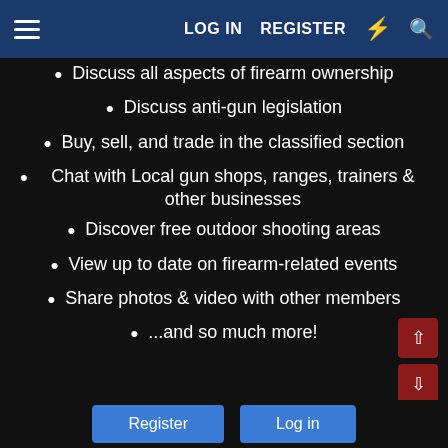LOG IN   REGISTER
Discuss all aspects of firearm ownership
Discuss anti-gun legislation
Buy, sell, and trade in the classified section
Chat with Local gun shops, ranges, trainers & other businesses
Discover free outdoor shooting areas
View up to date on firearm-related events
Share photos & video with other members
...and so much more!